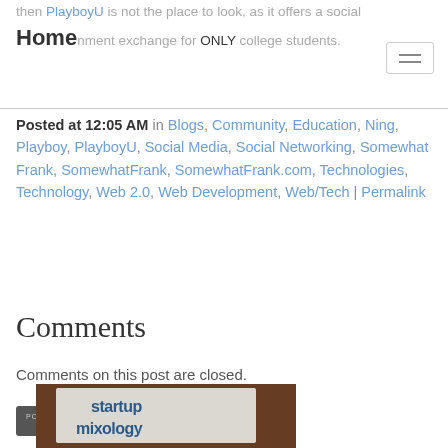then PlayboyU is not the place to look, as it offers a social environment exchange for ONLY college students.
Posted at 12:05 AM in Blogs, Community, Education, Ning, Playboy, PlayboyU, Social Media, Social Networking, Somewhat Frank, SomewhatFrank, SomewhatFrank.com, Technologies, Technology, Web 2.0, Web Development, Web/Tech | Permalink
Comments
Comments on this post are closed.
[Figure (logo): Powered by TypePad badge button]
[Figure (photo): Photo of a napkin with 'startup mixology' text printed on it, on a dark wooden surface]